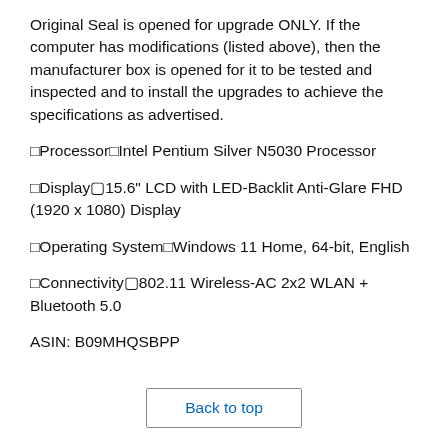Original Seal is opened for upgrade ONLY. If the computer has modifications (listed above), then the manufacturer box is opened for it to be tested and inspected and to install the upgrades to achieve the specifications as advertised.
□Processor□Intel Pentium Silver N5030 Processor
□Display▢15.6" LCD with LED-Backlit Anti-Glare FHD (1920 x 1080) Display
□Operating System□Windows 11 Home, 64-bit, English
□Connectivity▢802.11 Wireless-AC 2x2 WLAN + Bluetooth 5.0
ASIN: B09MHQSBPP
Back to top